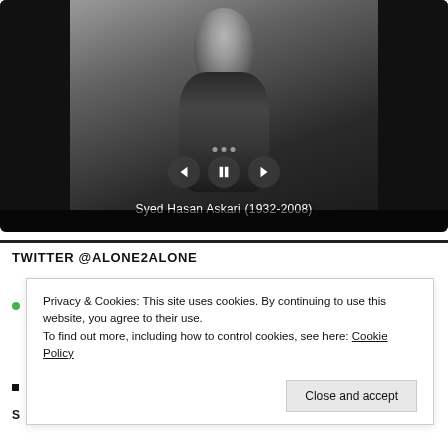[Figure (photo): Black and white photograph of Syed Hasan Askari (1932-2008), a man in a suit sitting back, looking upward, displayed in a dark slideshow player with navigation controls (previous, pause, next buttons)]
Syed Hasan Askari (1932-2008)
TWITTER @ALONE2ALONE
Privacy & Cookies: This site uses cookies. By continuing to use this website, you agree to their use.
To find out more, including how to control cookies, see here: Cookie Policy
Close and accept